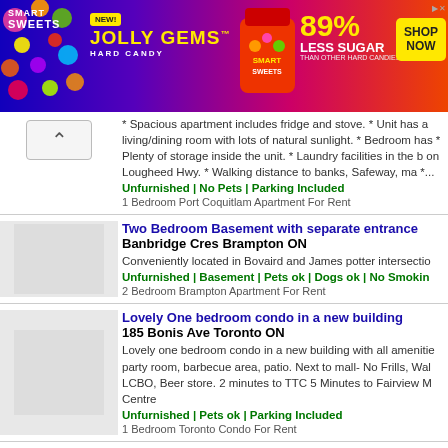[Figure (photo): Smart Sweets Jolly Gems Hard Candy advertisement banner. 89% less sugar than other hard candies. SHOP NOW button.]
* Spacious apartment includes fridge and stove. * Unit has a living/dining room with lots of natural sunlight. * Bedroom has * Plenty of storage inside the unit. * Laundry facilities in the b on Lougheed Hwy. * Walking distance to banks, Safeway, ma *...
Unfurnished | No Pets | Parking Included
1 Bedroom Port Coquitlam Apartment For Rent
Two Bedroom Basement with separate entrance
Banbridge Cres Brampton ON
Conveniently located in Bovaird and James potter intersectio
Unfurnished | Basement | Pets ok | Dogs ok | No Smokin
2 Bedroom Brampton Apartment For Rent
Lovely One bedroom condo in a new building
185 Bonis Ave Toronto ON
Lovely one bedroom condo in a new building with all amenitie party room, barbecue area, patio. Next to mall- No Frills, Wal LCBO, Beer store. 2 minutes to TTC 5 Minutes to Fairview M Centre
Unfurnished | Pets ok | Parking Included
1 Bedroom Toronto Condo For Rent
Room for Rent - 3 minute walk from Niagara College
61 Poplar Crescent Welland ON
We have 3 rooms available for rent on Poplar Crescent. All u Large rooms with open windows, studying desks and closets